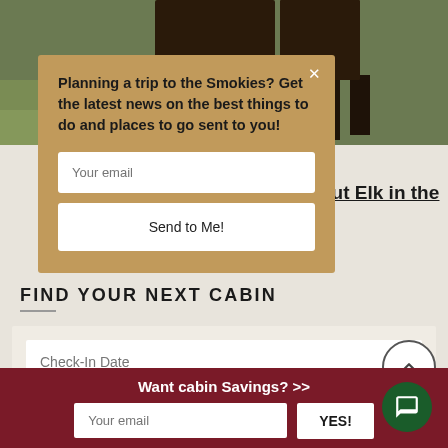[Figure (photo): Photo of elk legs and body in grass, partially visible at top of page]
Planning a trip to the Smokies? Get the latest news on the best things to do and places to go sent to you!
Your email
Send to Me!
out Elk in the
FIND YOUR NEXT CABIN
Check-In Date
Check-Out Date
Want cabin Savings? >>
Your email
YES!